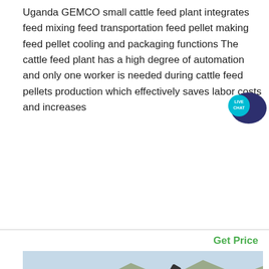Uganda GEMCO small cattle feed plant integrates feed mixing feed transportation feed pellet making feed pellet cooling and packaging functions The cattle feed plant has a high degree of automation and only one worker is needed during cattle feed pellets production which effectively saves labor costs and increases
Get Price
[Figure (photo): Outdoor industrial crushing/grinding plant machinery in a quarry or open-pit mine setting, with conveyor belts, a large crusher machine with hopper, and rocky hillside terrain in background. Green and white stripes visible on machinery base.]